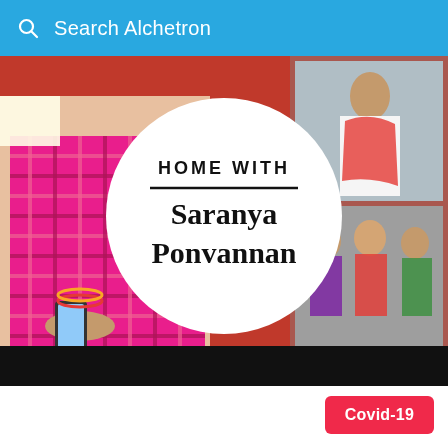Search Alchetron
[Figure (screenshot): Banner image showing a woman in a colorful pink/red sari holding a phone on the left side, and two smaller images on the right side showing another woman in a red dupatta and a group of women at a function. A large white circle in the center displays the text 'HOME WITH Saranya Ponvannan' in bold black serif font with a horizontal line separator. The bottom portion of the banner has a black strip.]
Covid-19